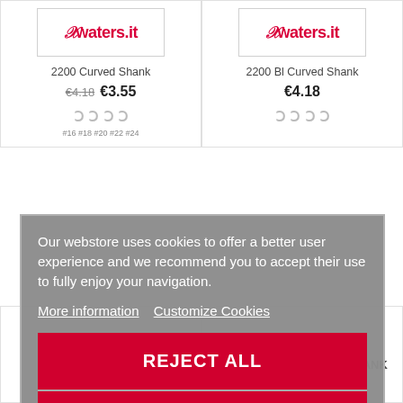[Figure (screenshot): Product listing page for xwaters.it showing fishing hooks with cookie consent overlay. Top row shows two products: '2200 Curved Shank' (€4.18 crossed out, €3.55) and '2200 Bl Curved Shank' (€4.18). A cookie consent dialog overlays the middle of the page with text about cookies, 'More information', 'Customize Cookies' links, and two buttons: 'REJECT ALL' and 'I ACCEPT'. Bottom row shows '2200 Bl-B Curved Shank' (€4.18) and '2210 4X FINE CURVED SHANK' (€5.33 crossed out, €4.53).]